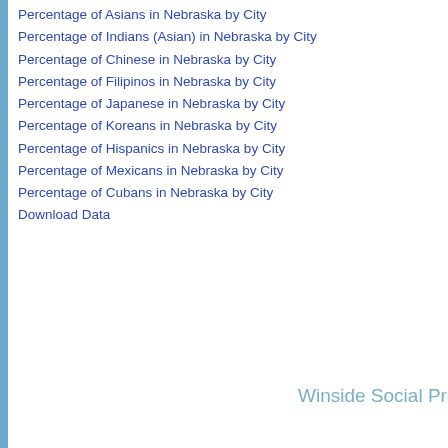Percentage of Asians in Nebraska by City
Percentage of Indians (Asian) in Nebraska by City
Percentage of Chinese in Nebraska by City
Percentage of Filipinos in Nebraska by City
Percentage of Japanese in Nebraska by City
Percentage of Koreans in Nebraska by City
Percentage of Hispanics in Nebraska by City
Percentage of Mexicans in Nebraska by City
Percentage of Cubans in Nebraska by City
Download Data
Winside Social Pro
Winside School Enrollment
[Figure (bar-chart): Winside School Enrollment]